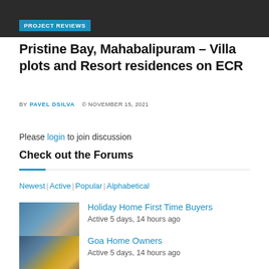[Figure (photo): Dark banner header with PROJECT REVIEWS blue badge label]
Pristine Bay, Mahabalipuram – Villa plots and Resort residences on ECR
BY PAVEL DSILVA  © NOVEMBER 15, 2021
Please login to join discussion
Check out the Forums
Newest | Active | Popular | Alphabetical
[Figure (photo): Thumbnail of modern villa building]
Holiday Home First Time Buyers
Active 5 days, 14 hours ago
[Figure (photo): Thumbnail of apartment building in Goa]
Goa Home Owners
Active 5 days, 14 hours ago